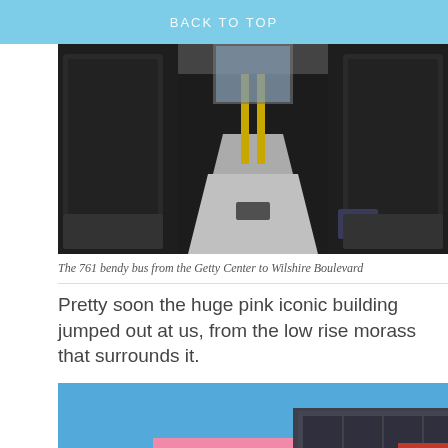BACK TO TOP
[Figure (photo): Interior of the 761 bendy bus showing seats and aisle with sunlight on the floor]
The 761 bendy bus from the Getty Center to Wilshire Boulevard
Pretty soon the huge pink iconic building jumped out at us, from the low rise morass that surrounds it.
[Figure (photo): Pink iconic building against a blue sky with trees in front and a red building to the right]